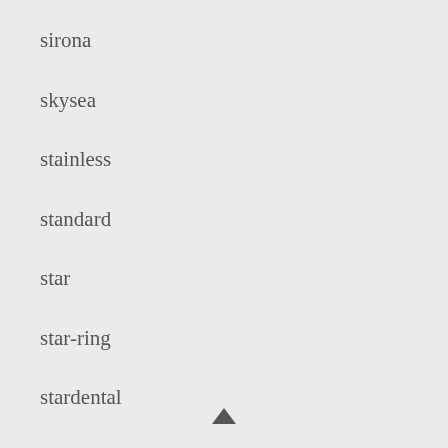sirona
skysea
stainless
standard
star
star-ring
stardental
statis
style
suctioning
super
surgic
synea
ti-max
titan
topair
[Figure (other): Upward pointing triangle/arrow button]